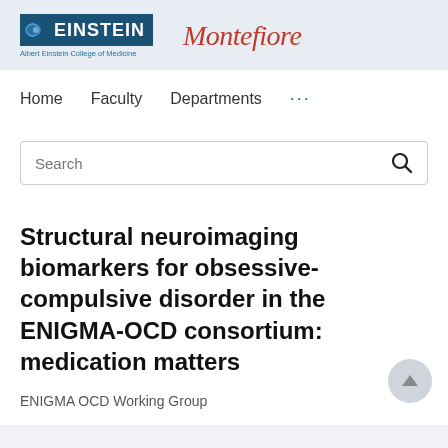[Figure (logo): Albert Einstein College of Medicine logo and Montefiore logo side by side in header bar]
Home   Faculty   Departments   ...
Search
Structural neuroimaging biomarkers for obsessive-compulsive disorder in the ENIGMA-OCD consortium: medication matters
ENIGMA OCD Working Group